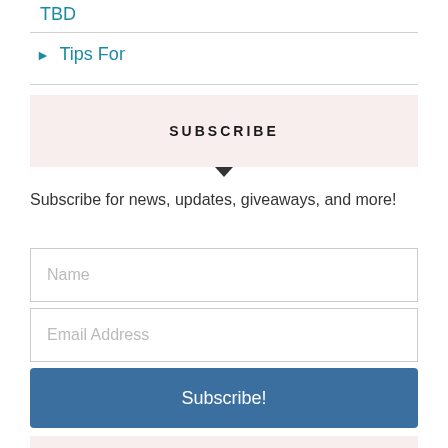TBD
▶ Tips For
SUBSCRIBE
Subscribe for news, updates, giveaways, and more!
Name
Email Address
Subscribe!
JOIN HER ADVENTURES